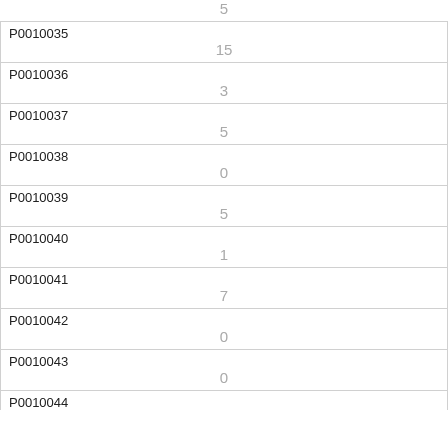| ID | Value |
| --- | --- |
| (continued) | 5 |
| P0010035 | 15 |
| P0010036 | 3 |
| P0010037 | 5 |
| P0010038 | 0 |
| P0010039 | 5 |
| P0010040 | 1 |
| P0010041 | 7 |
| P0010042 | 0 |
| P0010043 | 0 |
| P0010044 |  |